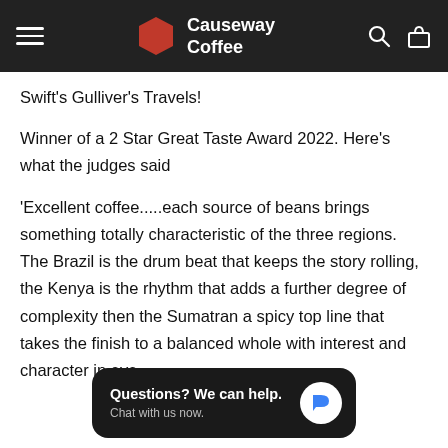Causeway Coffee
Swift's Gulliver's Travels!
Winner of a 2 Star Great Taste Award 2022. Here's what the judges said
'Excellent coffee.....each source of beans brings something totally characteristic of the three regions. The Brazil is the drum beat that keeps the story rolling, the Kenya is the rhythm that adds a further degree of complexity then the Sumatran a spicy top line that takes the finish to a balanced whole with interest and character in eve
[Figure (screenshot): Chat widget overlay reading 'Questions? We can help. Chat with us now.' with a blue speech bubble icon on dark background]